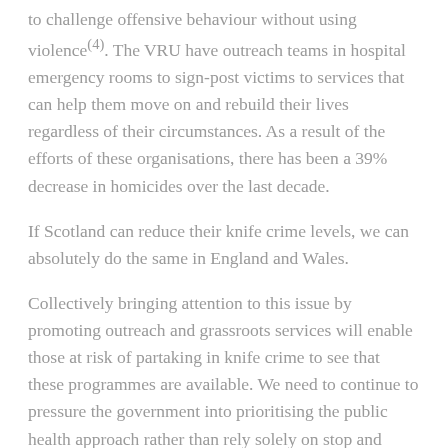to challenge offensive behaviour without using violence(4). The VRU have outreach teams in hospital emergency rooms to sign-post victims to services that can help them move on and rebuild their lives regardless of their circumstances. As a result of the efforts of these organisations, there has been a 39% decrease in homicides over the last decade.
If Scotland can reduce their knife crime levels, we can absolutely do the same in England and Wales.
Collectively bringing attention to this issue by promoting outreach and grassroots services will enable those at risk of partaking in knife crime to see that these programmes are available. We need to continue to pressure the government into prioritising the public health approach rather than rely solely on stop and searches. We can do this through the BMA